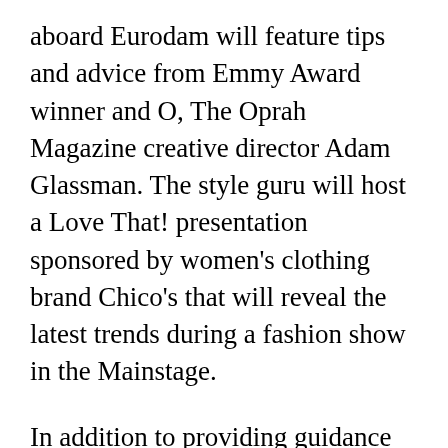aboard Eurodam will feature tips and advice from Emmy Award winner and O, The Oprah Magazine creative director Adam Glassman. The style guru will host a Love That! presentation sponsored by women's clothing brand Chico's that will reveal the latest trends during a fashion show in the Mainstage.
In addition to providing guidance on how to look and feel fabulous, Glassman will provide packing tips for every traveler and answer questions from the audience. Cruisers who wish to purchase the clothing seen in Glassman's presentation will have